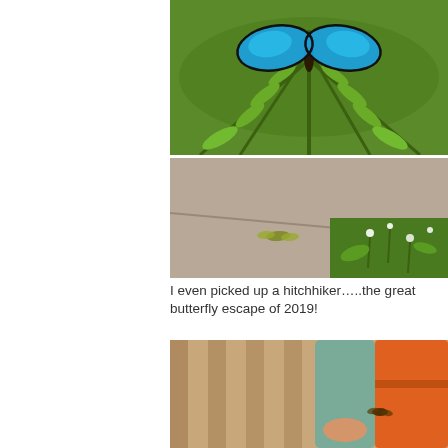[Figure (photo): A large blue morpho butterfly resting on green fern fronds, vivid blue wings visible from above.]
[Figure (photo): A small butterfly or moth resting on a concrete path next to garden plants with small white flowers.]
I even picked up a hitchhiker…..the great butterfly escape of 2019!
[Figure (photo): View of feet and an orange bag in sunlight, with a small butterfly visible near the bag.]